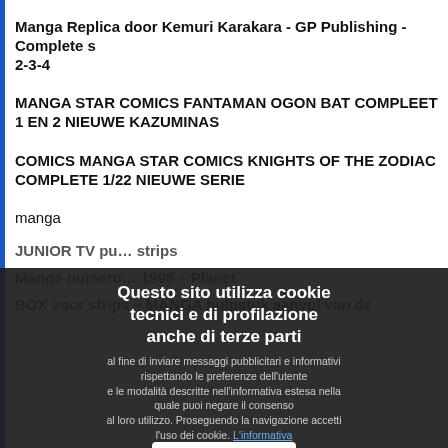Manga Replica door Kemuri Karakara - GP Publishing - Complete s 2-3-4
MANGA STAR COMICS FANTAMAN OGON BAT COMPLEET 1 EN 2 NIEUWE KAZUMINAS
COMICS MANGA STAR COMICS KNIGHTS OF THE ZODIAC COMPLETE 1/22 NIEUWE SERIE
manga
JUNIOR TV pu... strips
Manga numero... 1998 - Planet
BOX voor strips - MANGA hulpstuk aanvul van de
Questo sito utilizza cookie tecnici e di profilazione anche di terze parti al fine di inviare messaggi pubblicitari e informativi rispettando le preferenze dell'utente e le modalità descritte nell'informativa estesa nella quale puoi negare il consenso al loro utilizzo. Proseguendo la navigazione accetti l'uso dei cookie. L'informativa
Accetto